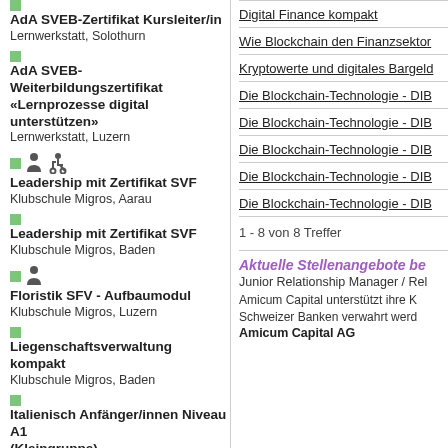AdA SVEB-Zertifikat Kursleiter/in
Lernwerkstatt, Solothurn
AdA SVEB-Weiterbildungszertifikat «Lernprozesse digital unterstützen»
Lernwerkstatt, Luzern
Leadership mit Zertifikat SVF
Klubschule Migros, Aarau
Leadership mit Zertifikat SVF
Klubschule Migros, Baden
Floristik SFV - Aufbaumodul
Klubschule Migros, Luzern
Liegenschaftsverwaltung kompakt
Klubschule Migros, Baden
Italienisch Anfänger/innen Niveau A1 (Kleingruppe)
Klubschule Migros, Baden
Gogo Dance
Digital Finance kompakt
Wie Blockchain den Finanzsektor
Kryptowerte und digitales Bargeld
Die Blockchain-Technologie - DIB
Die Blockchain-Technologie - DIB
Die Blockchain-Technologie - DIB
Die Blockchain-Technologie - DIB
Die Blockchain-Technologie - DIB
1 - 8 von 8 Treffer
Aktuelle Stellenangebote be
Junior Relationship Manager / Rel
Amicum Capital unterstützt ihre K
Schweizer Banken verwahrt werd
Amicum Capital AG